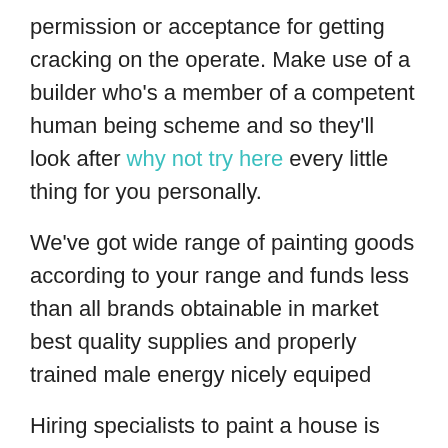permission or acceptance for getting cracking on the operate. Make use of a builder who's a member of a competent human being scheme and so they'll look after why not try here every little thing for you personally.
We've got wide range of painting goods according to your range and funds less than all brands obtainable in market best quality supplies and properly trained male energy nicely equiped
Hiring specialists to paint a house is undoubtedly the dearer choice to take into account, but it really comes with many Gains more this than dealing with the job oneself.
What can I say, Michael goes earlier mentioned and further than...